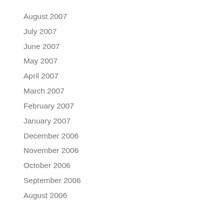August 2007
July 2007
June 2007
May 2007
April 2007
March 2007
February 2007
January 2007
December 2006
November 2006
October 2006
September 2006
August 2006